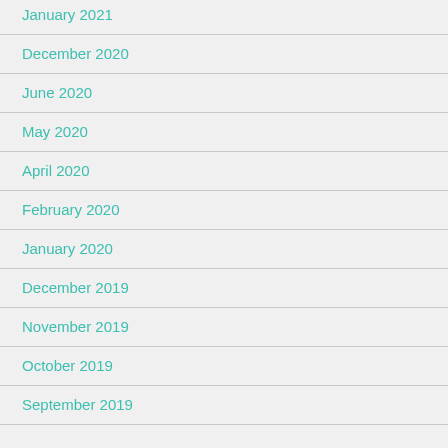January 2021
December 2020
June 2020
May 2020
April 2020
February 2020
January 2020
December 2019
November 2019
October 2019
September 2019